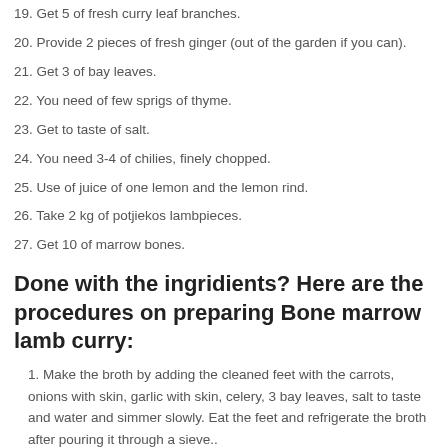19. Get 5 of fresh curry leaf branches.
20. Provide 2 pieces of fresh ginger (out of the garden if you can).
21. Get 3 of bay leaves.
22. You need of few sprigs of thyme.
23. Get to taste of salt.
24. You need 3-4 of chilies, finely chopped.
25. Use of juice of one lemon and the lemon rind.
26. Take 2 kg of potjiekos lambpieces.
27. Get 10 of marrow bones.
Done with the ingridients? Here are the procedures on preparing Bone marrow lamb curry:
1. Make the broth by adding the cleaned feet with the carrots, onions with skin, garlic with skin, celery, 3 bay leaves, salt to taste and water and simmer slowly. Eat the feet and refrigerate the broth after pouring it through a sieve..